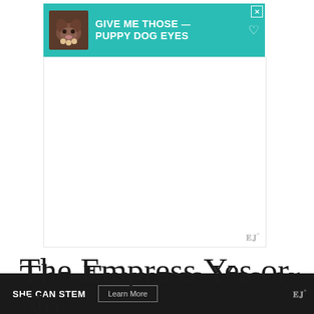[Figure (infographic): Teal banner advertisement with a dog photo and text 'GIVE ME THOSE PUPPY DOG EYES' with a heart outline icon and close button]
[Figure (other): Gray/white advertisement placeholder area with a Mediavine watermark logo at bottom right]
The Empress Yes or No Tarot Reading
Feminine spirit, abundance, and childbirth are all represented by the Empress Tarot card. As a result, the most common yes/no response is YES. Especially if you're able to
[Figure (other): Bottom dark banner advertisement reading 'SHE CAN STEM' with a 'Learn More' button and Mediavine logo]